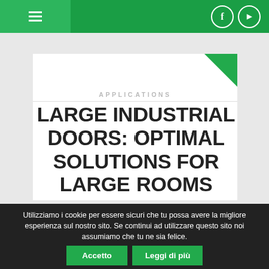≡  [navigation bar with hamburger menu, Facebook icon, YouTube icon]
APPLICATIONS
LARGE INDUSTRIAL DOORS: OPTIMAL SOLUTIONS FOR LARGE ROOMS
Utilizziamo i cookie per essere sicuri che tu possa avere la migliore esperienza sul nostro sito. Se continui ad utilizzare questo sito noi assumiamo che tu ne sia felice.
Accetto | Leggi di più